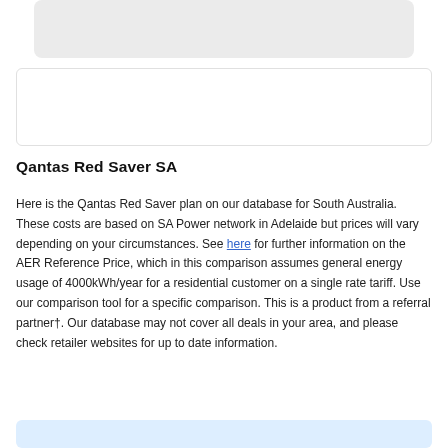[Figure (other): Light grey rounded rectangle card at top of page]
[Figure (other): White bordered rounded rectangle card in middle area]
Qantas Red Saver SA
Here is the Qantas Red Saver plan on our database for South Australia.  These costs are based on SA Power network in Adelaide but prices will vary depending on your circumstances. See here for further information on the AER Reference Price, which in this comparison assumes general energy usage of 4000kWh/year for a residential customer on a single rate tariff. Use our comparison tool for a specific comparison. This is a product from a referral partner†. Our database may not cover all deals in your area, and please check retailer websites for up to date information.
[Figure (other): Light blue rounded rectangle card at bottom of page]